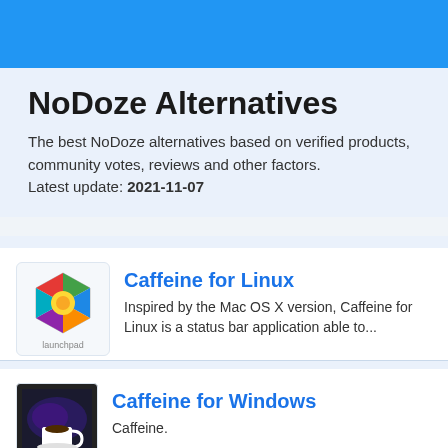NoDoze Alternatives
The best NoDoze alternatives based on verified products, community votes, reviews and other factors.
Latest update: 2021-11-07
Caffeine for Linux
Inspired by the Mac OS X version, Caffeine for Linux is a status bar application able to...
Caffeine for Windows
Caffeine.